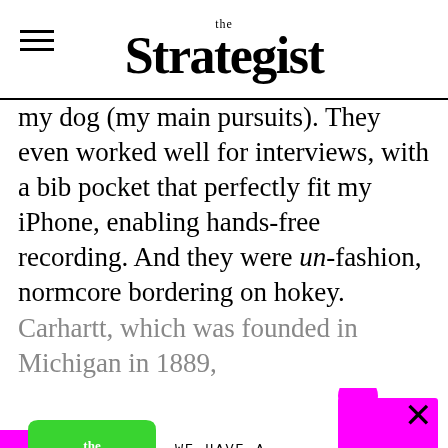the Strategist
my dog (my main pursuits). They even worked well for interviews, with a bib pocket that perfectly fit my iPhone, enabling hands-free recording. And they were un-fashion, normcore bordering on hokey. Carhartt, which was founded in Michigan in 1889,
[Figure (infographic): Newsletter signup modal overlay with colorful puzzle/tag shapes, The Strategist green tag logo, email input and SIGN ME UP button, 'NO THANKS' strikethrough link]
WE HAVE A NEWSLETTER!
Join our list for newsletter-only discounts on editor favorites
Plus actually good sales, expert picks, and excellent gift ideas
Enter email here
SIGN ME UP
NO THANKS